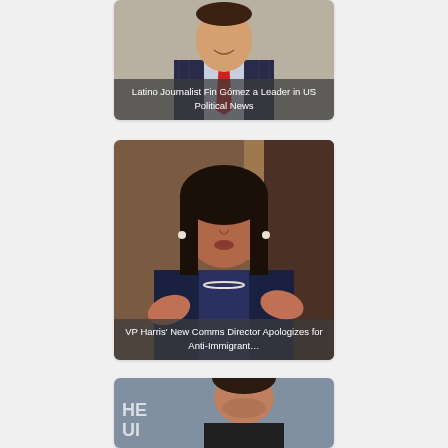[Figure (photo): Photo of a man in a pinstripe suit with a red tie, smiling. Caption reads: Latino Journalist Fin Gómez a Leader in US Political News]
Latino Journalist Fin Gómez a Leader in US Political News
[Figure (photo): Photo of VP Kamala Harris in a dark blazer, gesturing with hands. Caption reads: VP Harris' New Comms Director Apologizes for Anti-Immigrant…]
VP Harris' New Comms Director Apologizes for Anti-Immigrant…
[Figure (photo): Photo of a man with dark hair, partially cropped.]